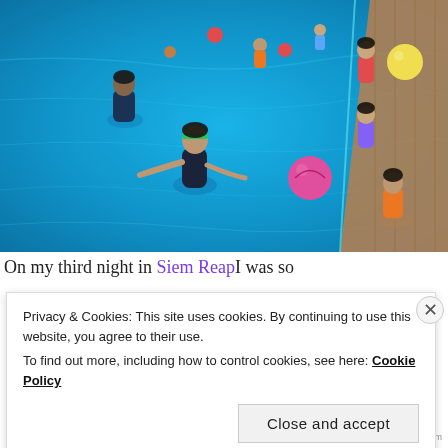[Figure (photo): Aerial/overhead view of a swimming pool with multiple people in the water. A woman with a green headband in a black swimsuit is prominent in the center, reaching out. A man in a dark shirt is in the background left. Several children are along the right edge of the pool, with colorful balls including a pink ball and a yellow ball. The pool water is vivid blue.]
On my third night in Siem Reap I was so
Privacy & Cookies: This site uses cookies. By continuing to use this website, you agree to their use.
To find out more, including how to control cookies, see here: Cookie Policy
Close and accept